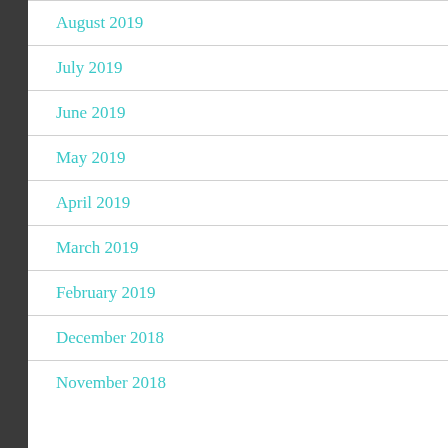August 2019
July 2019
June 2019
May 2019
April 2019
March 2019
February 2019
December 2018
November 2018